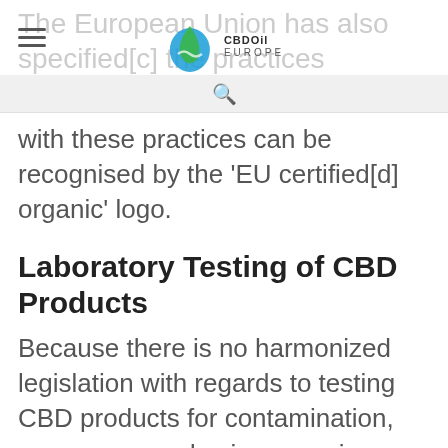The European Union has also specified[c] the practices required for
[Figure (logo): CBDOil Europe logo with green and blue droplet icon]
with these practices can be recognised by the 'EU certified[d] organic' logo.
Laboratory Testing of CBD Products
Because there is no harmonized legislation with regards to testing CBD products for contamination, we recommend using organic material.